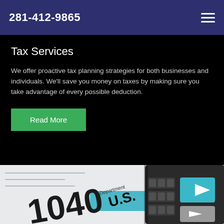281-412-9865
Tax Services
We offer proactive tax planning strategies for both businesses and individuals. We'll save you money on taxes by making sure you take advantage of every possible deduction.
Read More
[Figure (photo): Close-up photo of a US 1040 tax form with a calculator on top, showing teal/blue keys and the text 'Department', 'U.S.', '1040', 'Dec. 31, 20', 'd initial']